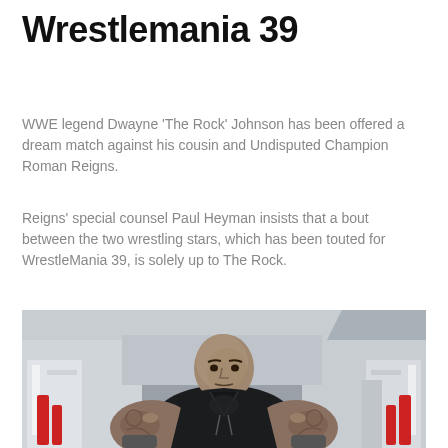Wrestlemania 39
WWE legend Dwayne 'The Rock' Johnson has been offered a dream match against his cousin and Undisputed Champion Roman Reigns.
Reigns' special counsel Paul Heyman insists that a bout between the two wrestling stars, which has been touted for WrestleMania 39, is solely up to The Rock.
[Figure (photo): Dwayne 'The Rock' Johnson in a gym setting, wearing a black sleeveless hoodie, displaying muscular arms with tattoos, surrounded by gym equipment with red accents]